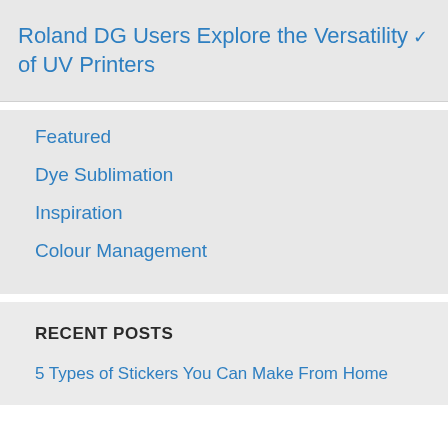Roland DG Users Explore the Versatility of UV Printers
Featured
Dye Sublimation
Inspiration
Colour Management
RECENT POSTS
5 Types of Stickers You Can Make From Home